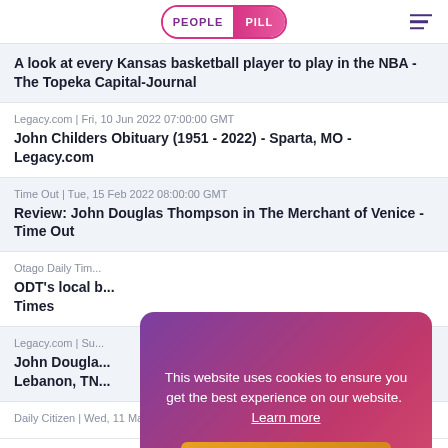PEOPLE PILL
A look at every Kansas basketball player to play in the NBA - The Topeka Capital-Journal
Legacy.com | Fri, 10 Jun 2022 07:00:00 GMT
John Childers Obituary (1951 - 2022) - Sparta, MO - Legacy.com
Time Out | Tue, 15 Feb 2022 08:00:00 GMT
Review: John Douglas Thompson in The Merchant of Venice - Time Out
Otago Daily Tim...
ODT's local b... Times
Legacy.com | Su...
John Dougla... Lebanon, TN...
Daily Citizen | Wed, 11 May 2022 07:00:00 GMT
[Figure (other): Cookie consent popup overlay with gradient purple-pink background, text 'This website uses cookies to ensure you get the best experience on our website. Learn more' and a golden 'Got it!' button.]